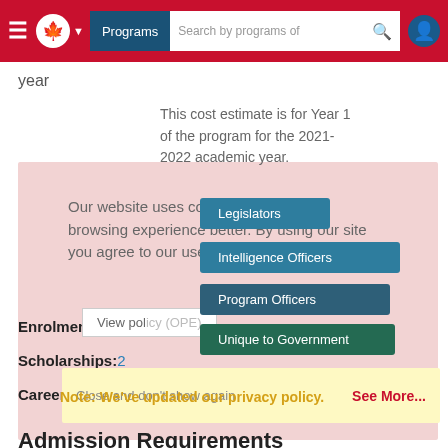Programs  Search by programs of
year
This cost estimate is for Year 1 of the program for the 2021-2022 academic year.
Enrolment #: 68
Scholarships: 2
Note: We've updated our privacy policy.
Our website uses cookies to make your browsing experience better. By using our site you agree to our use of cookies.
Careers:
Legislators
Intelligence Officers
Program Officers
Unique to Government
Close and don't show again
See More...
Admission Requirements